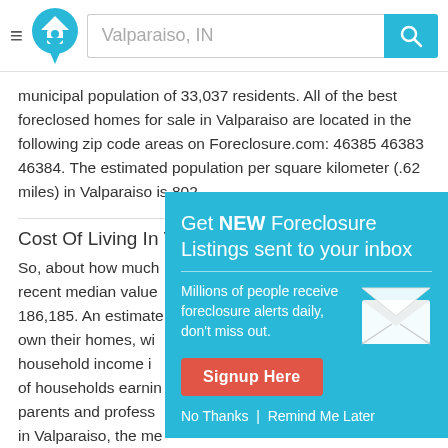Valparaiso, IN
municipal population of 33,037 residents. All of the best foreclosed homes for sale in Valparaiso are located in the following zip code areas on Foreclosure.com: 46385 46383 46384. The estimated population per square kilometer (.62 miles) in Valparaiso is 802.
Cost Of Living In V...
So, about how much... recent median value... 186,185. An estimate... own their homes, wi... household income i... of households earnin... parents and profes... in Valparaiso, the me... minutes) is 23. And last, but certainly not least, are you looking for homes to rent in Valparaiso? If so, the average rent price paid by renters in Valparaiso is 925, according to recent
[Figure (infographic): Modal popup: Get NEW Foreclosure Listings sent to your inbox. Millions of people receive foreclosure alerts daily, don't miss out. Signup Here button. No Thanks | Remind Me Later links.]